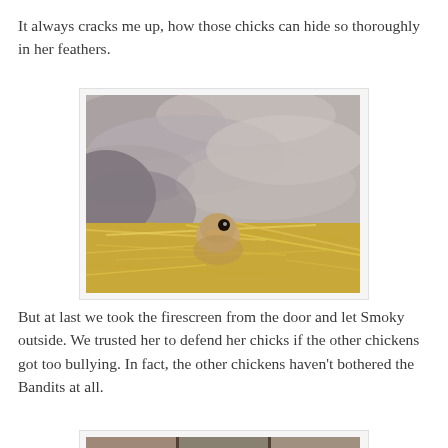It always cracks me up, how those chicks can hide so thoroughly in her feathers.
[Figure (photo): A chick peeking out from under a hen's feathers, nestled in straw/hay bedding. The hen's gray feathers dominate the upper portion of the image.]
But at last we took the firescreen from the door and let Smoky outside. We trusted her to defend her chicks if the other chickens got too bullying. In fact, the other chickens haven't bothered the Bandits at all.
[Figure (photo): A partial view of chickens near a wooden structure, partially cut off at the bottom of the page.]